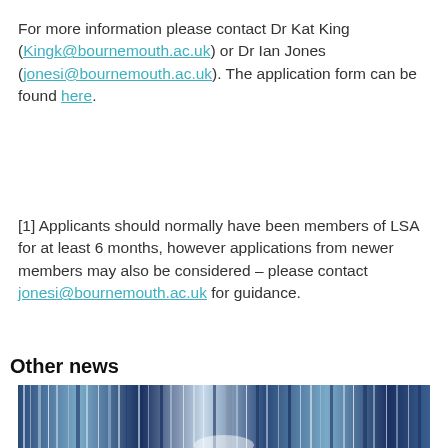For more information please contact Dr Kat King (Kingk@bournemouth.ac.uk) or Dr Ian Jones (jonesi@bournemouth.ac.uk). The application form can be found here.
[1] Applicants should normally have been members of LSA for at least 6 months, however applications from newer members may also be considered – please contact jonesi@bournemouth.ac.uk for guidance.
Other news
[Figure (photo): Abstract blue and white textile or fiber art photograph showing vertical streaks in shades of navy and light blue.]